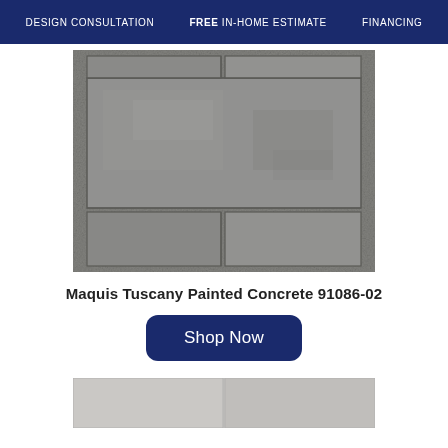DESIGN CONSULTATION    FREE IN-HOME ESTIMATE    FINANCING
[Figure (photo): Close-up photo of Maquis Tuscany Painted Concrete tile flooring showing large grey concrete-look tiles with grout lines in an offset pattern]
Maquis Tuscany Painted Concrete 91086-02
[Figure (other): Dark navy blue 'Shop Now' button with rounded corners]
[Figure (photo): Partial photo of lighter grey tile flooring at the bottom of the page]